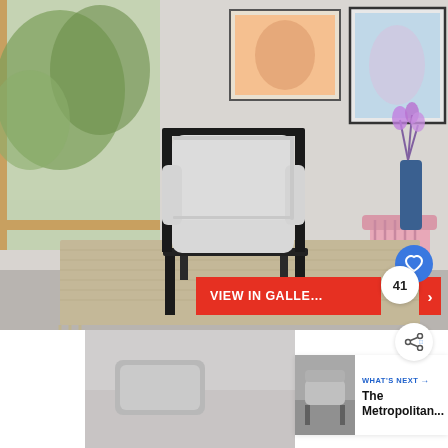[Figure (photo): A modern living room scene showing a light grey upholstered armchair with black metal frame, set on a woven beige rug near large windows with a view of trees. A pink ribbed vase and blue cylindrical vase are visible on the right, along with framed artwork on the wall. The floor is concrete grey.]
[Figure (photo): A partial view of a room or furniture piece in pale grey/white tones, partially visible in the lower-left area of the page.]
VIEW IN GALLE...
41
WHAT'S NEXT → The Metropolitan...